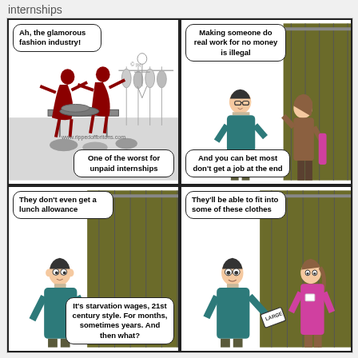internships
[Figure (illustration): Four-panel comic strip about internships in the fashion industry. Panel 1 (top-left): Shows fashion workers in dark red silhouette working in a clothing store, with speech bubbles 'Ah, the glamorous fashion industry!' and 'One of the worst for unpaid internships'. Credit: www.rippedoffbritons.com. Panel 2 (top-right): Man and woman talking in a clothing store, bubbles: 'Making someone do real work for no money is illegal' and 'And you can bet most don't get a job at the end'. Panel 3 (bottom-left): Man standing alone, bubbles: 'They don't even get a lunch allowance' and 'It's starvation wages, 21st century style. For months, sometimes years. And then what?'. Panel 4 (bottom-right): Man holding 'LARGE' clothing tag, woman in pink top, bubble: 'They'll be able to fit into some of these clothes'.]